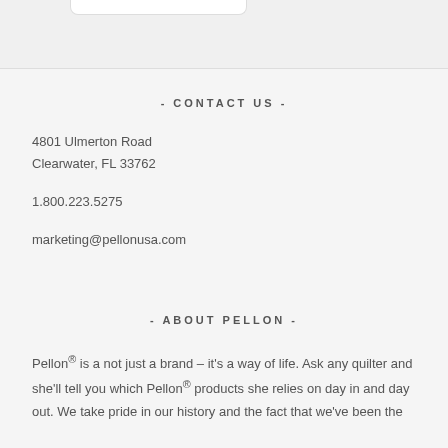- CONTACT US -
4801 Ulmerton Road
Clearwater, FL 33762
1.800.223.5275
marketing@pellonusa.com
- ABOUT PELLON -
Pellon® is a not just a brand – it's a way of life. Ask any quilter and she'll tell you which Pellon® products she relies on day in and day out. We take pride in our history and the fact that we've been the